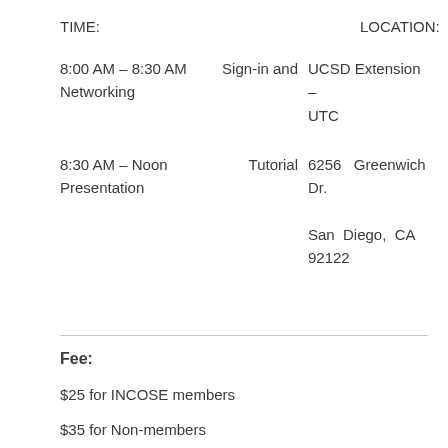TIME:
LOCATION:
8:00 AM – 8:30 AM   Sign-in and Networking   UCSD Extension – UTC
8:30 AM – Noon   Tutorial Presentation   6256 Greenwich Dr.   San Diego, CA 92122
Fee:
$25 for INCOSE members
$35 for Non-members